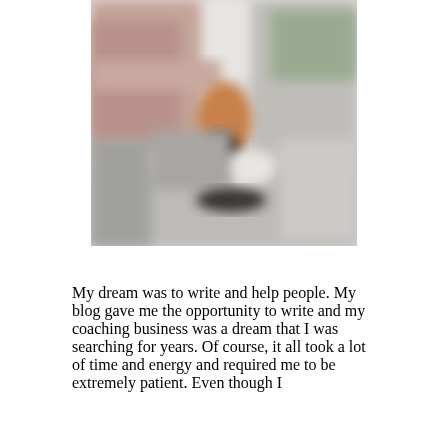[Figure (photo): A blurred outdoor scene showing what appears to be a street or cafe setting with warm tones, a person or figure in the middle, buildings or awnings in the background.]
My dream was to write and help people. My blog gave me the opportunity to write and my coaching business was a dream that I was searching for years. Of course, it all took a lot of time and energy and required me to be extremely patient. Even though I